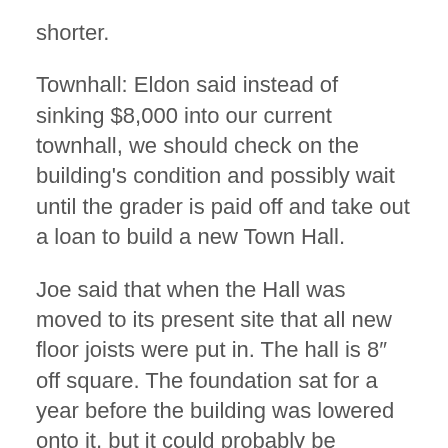shorter.
Townhall: Eldon said instead of sinking $8,000 into our current townhall, we should check on the building's condition and possibly wait until the grader is paid off and take out a loan to build a new Town Hall.
Joe said that when the Hall was moved to its present site that all new floor joists were put in. The hall is 8″ off square. The foundation sat for a year before the building was lowered onto it, but it could probably be repaired without jacking the whole building up.
Town Web Site: There was a discussion on posting the open meeting minutes on the website, and the danger of people finding out who attends meetings and the possibility of them taking advantage of this to break into citizens' homes while they are at meetings. Paul said the meeting minutes are a public record, and there is no way